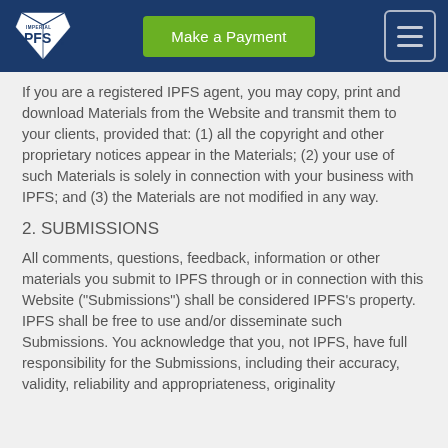[Figure (logo): Imperial PFS logo with white box/diamond shape and PFS text on dark blue header background]
Make a Payment
If you are a registered IPFS agent, you may copy, print and download Materials from the Website and transmit them to your clients, provided that: (1) all the copyright and other proprietary notices appear in the Materials; (2) your use of such Materials is solely in connection with your business with IPFS; and (3) the Materials are not modified in any way.
2. SUBMISSIONS
All comments, questions, feedback, information or other materials you submit to IPFS through or in connection with this Website ("Submissions") shall be considered IPFS's property. IPFS shall be free to use and/or disseminate such Submissions. You acknowledge that you, not IPFS, have full responsibility for the Submissions, including their accuracy, validity, reliability and appropriateness, originality